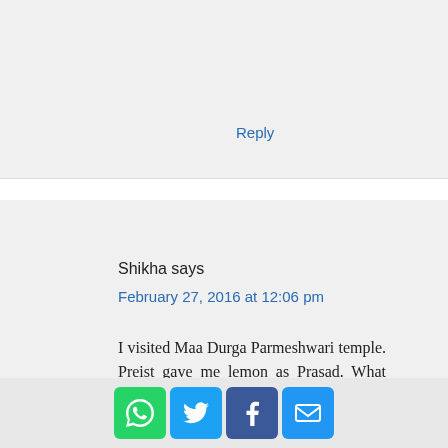Reply
Shikha says
February 27, 2016 at 12:06 pm
I visited Maa Durga Parmeshwari temple. Preist gave me lemon as Prasad. What should I do
Reply
[Figure (infographic): Social share icons: WhatsApp (green), Twitter (blue), Facebook (dark blue), Email (blue)]